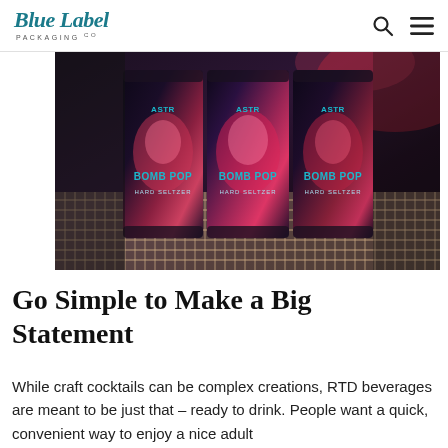Blue Label Packaging Co.
[Figure (photo): Three dark cans labeled 'BOMB POP HARD SELTZER' with colorful firework/galaxy artwork, sitting on a metal mesh grate surface.]
Go Simple to Make a Big Statement
While craft cocktails can be complex creations, RTD beverages are meant to be just that – ready to drink. People want a quick, convenient way to enjoy a nice adult